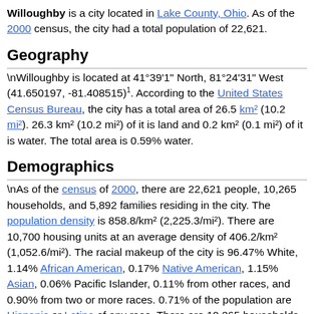Willoughby is a city located in Lake County, Ohio. As of the 2000 census, the city had a total population of 22,621.
Geography
\nWilloughby is located at 41°39'1" North, 81°24'31" West (41.650197, -81.408515)1. According to the United States Census Bureau, the city has a total area of 26.5 km² (10.2 mi²). 26.3 km² (10.2 mi²) of it is land and 0.2 km² (0.1 mi²) of it is water. The total area is 0.59% water.
Demographics
\nAs of the census of 2000, there are 22,621 people, 10,265 households, and 5,892 families residing in the city. The population density is 858.8/km² (2,225.3/mi²). There are 10,700 housing units at an average density of 406.2/km² (1,052.6/mi²). The racial makeup of the city is 96.47% White, 1.14% African American, 0.17% Native American, 1.15% Asian, 0.06% Pacific Islander, 0.11% from other races, and 0.90% from two or more races. 0.71% of the population are Hispanic or Latino of any race. There are 10,265 households out of which 25.2% have children under the age of 18 living with them, 42.8% are married couples living together, 11.1% have a female householder with no husband present, and 42.6% are non-families. 36.6% of all households are made up of individuals and 13.9% have someone living alone who is 65 years of age or older. The average